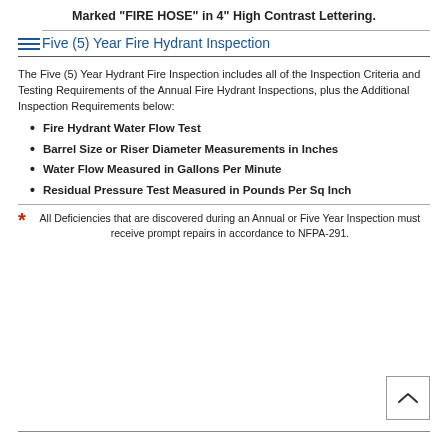Marked "FIRE HOSE" in 4" High Contrast Lettering.
Five (5) Year Fire Hydrant Inspection
The Five (5) Year Hydrant Fire Inspection includes all of the Inspection Criteria and Testing Requirements of the Annual Fire Hydrant Inspections, plus the Additional Inspection Requirements below:
Fire Hydrant Water Flow Test
Barrel Size or Riser Diameter Measurements in Inches
Water Flow Measured in Gallons Per Minute
Residual Pressure Test Measured in Pounds Per Sq Inch
* All Deficiencies that are discovered during an Annual or Five Year Inspection must receive prompt repairs in accordance to NFPA-291.